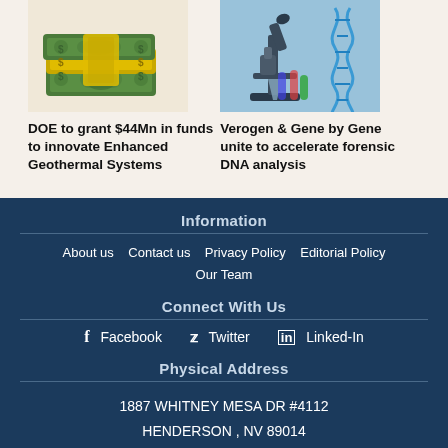[Figure (photo): Stack of green dollar bills (money illustration)]
DOE to grant $44Mn in funds to innovate Enhanced Geothermal Systems
[Figure (photo): Microscope and DNA double helix illustration]
Verogen & Gene by Gene unite to accelerate forensic DNA analysis
Information
About us  Contact us  Privacy Policy  Editorial Policy  Our Team
Connect With Us
f Facebook  Twitter  in Linked-In
Physical Address
1887 WHITNEY MESA DR #4112
HENDERSON , NV 89014